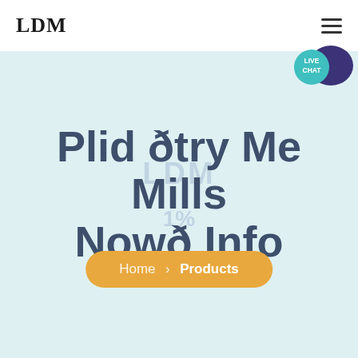LDM
[Figure (illustration): Live Chat button with speech bubble icon in teal and dark purple]
Plid ðtry Me Mills Nowð Info
Home > Products